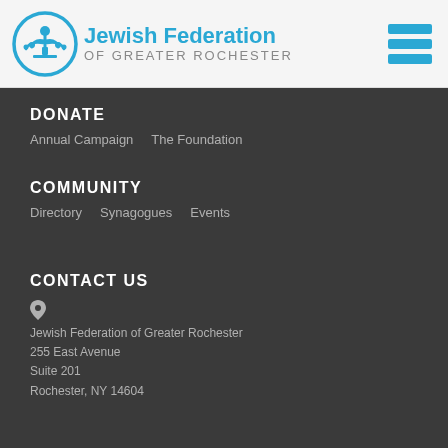[Figure (logo): Jewish Federation of Greater Rochester logo with circular menorah icon and text]
DONATE
Annual Campaign
The Foundation
COMMUNITY
Directory
Synagogues
Events
CONTACT US
Jewish Federation of Greater Rochester
255 East Avenue
Suite 201
Rochester, NY 14604